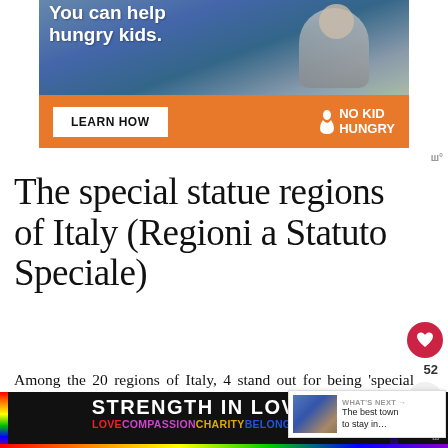[Figure (photo): No Kid Hungry advertisement banner with orange background showing a child eating and text 'You can help hungry kids.' with a LEARN HOW button and No Kid Hungry logo]
The special statue regions of Italy (Regioni a Statuto Speciale)
Among the 20 regions of Italy, 4 stand out for being 'special statute' regions, meaning with a status that is unique to them and that gives them specific rules...
[Figure (infographic): What's Next popup overlay showing a scenic town photo with text 'WHAT'S NEXT → The best town to stay in...']
[Figure (infographic): Bottom advertisement banner with black background: 'STRENGTH IN LOVE' in white text, with rainbow bar and 'LOVECOMPASSIONCHARITYBELONGING' in colored text]